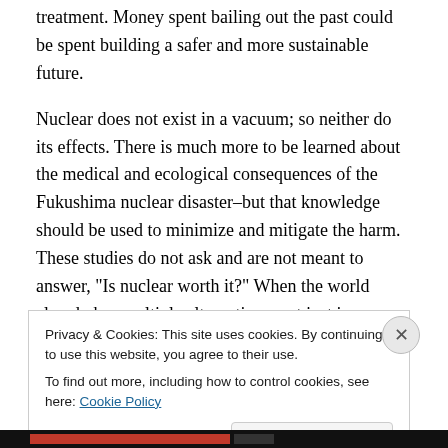treatment. Money spent bailing out the past could be spent building a safer and more sustainable future.
Nuclear does not exist in a vacuum; so neither do its effects. There is much more to be learned about the medical and ecological consequences of the Fukushima nuclear disaster–but that knowledge should be used to minimize and mitigate the harm. These studies do not ask and are not meant to answer, “Is nuclear worth it?” When the world already has multiple alternatives–not just in renewable technologies, but also in conservation strategies and improvements in energy efficiency, the
Privacy & Cookies: This site uses cookies. By continuing to use this website, you agree to their use.
To find out more, including how to control cookies, see here: Cookie Policy